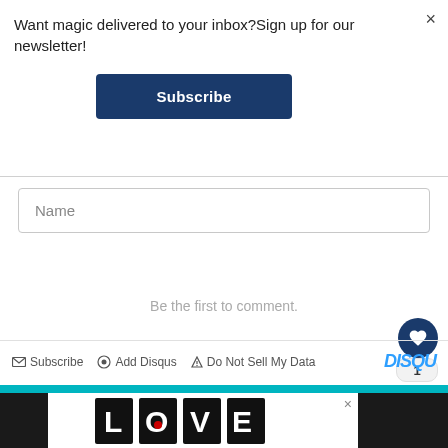Want magic delivered to your inbox?Sign up for our newsletter!
Subscribe
Name
Be the first to comment.
Subscribe  Add Disqus  Do Not Sell My Data  DISQ
[Figure (illustration): LOVE stylized typographic illustration with ornate black and white letter designs]
×